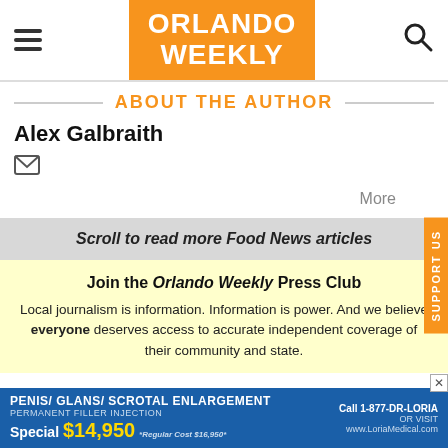[Figure (logo): Orlando Weekly logo — orange rectangle with white bold text ORLANDO WEEKLY]
ABOUT THE AUTHOR
Alex Galbraith
More
SUPPORT US
Scroll to read more Food News articles
Join the Orlando Weekly Press Club
Local journalism is information. Information is power. And we believe everyone deserves access to accurate independent coverage of their community and state.
[Figure (other): Advertisement banner for Dr. Loria medical services — Penis/Glans/Scrotal Enlargement, Permanent Filler Injection, Special $14,950, Regular Cost $16,950, Call 1-877-DR-LORIA, www.LoriaMedical.com]